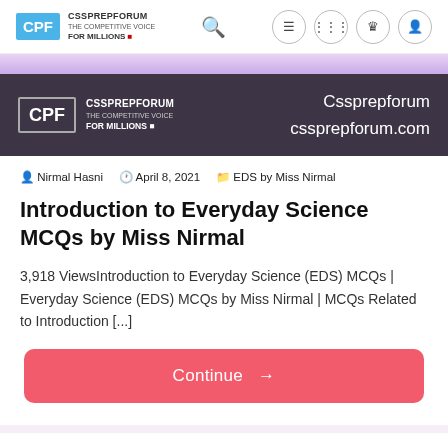CPF CSSPREPFORUM THE COMPETITIVE VOICE FOR MILLIONS
[Figure (logo): CPF Cssprepforum logo banner with dark purple background, showing CPF badge, logo text, and site name/URL on right]
Nirmal Hasni   April 8, 2021   EDS by Miss Nirmal
Introduction to Everyday Science MCQs by Miss Nirmal
3,918 ViewsIntroduction to Everyday Science (EDS) MCQs | Everyday Science (EDS) MCQs by Miss Nirmal | MCQs Related to Introduction [...]
Continue →